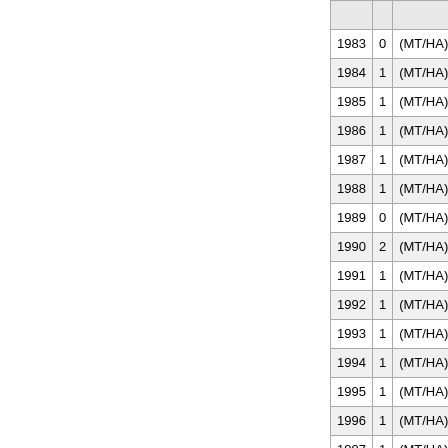| Year | Value | Unit | Change |  |
| --- | --- | --- | --- | --- |
| 1983 | 0 | (MT/HA) | -100.00% | C |
| 1984 | 1 | (MT/HA) | NA | C |
| 1985 | 1 | (MT/HA) | 0.00% | C |
| 1986 | 1 | (MT/HA) | 0.00% | C |
| 1987 | 1 | (MT/HA) | 0.00% | C |
| 1988 | 1 | (MT/HA) | 0.00% | C |
| 1989 | 0 | (MT/HA) | -100.00% | C |
| 1990 | 2 | (MT/HA) | NA | D |
| 1991 | 1 | (MT/HA) | -50.00% | E |
| 1992 | 1 | (MT/HA) | 0.00% | E |
| 1993 | 1 | (MT/HA) | 0.00% | E |
| 1994 | 1 | (MT/HA) | 0.00% | E |
| 1995 | 1 | (MT/HA) | 0.00% | E |
| 1996 | 1 | (MT/HA) | 0.00% | F |
| 1997 | 1 | (MT/HA) | 0.00% | F |
| 1998 | 1 | (MT/HA) | 0.00% | G |
| 1999 | 1 | (MT/HA) | 0.00% | G |
| 2000 | 1 | (MT/HA) | 0.00% | G |
| 2001 | 1 | (MT/HA) | 0.00% | G |